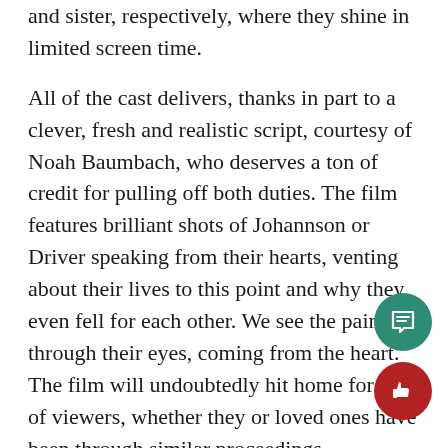and sister, respectively, where they shine in limited screen time.
All of the cast delivers, thanks in part to a clever, fresh and realistic script, courtesy of Noah Baumbach, who deserves a ton of credit for pulling off both duties. The film features brilliant shots of Johannson or Driver speaking from their hearts, venting about their lives to this point and why they even fell for each other. We see the pain through their eyes, coming from the heart. The film will undoubtedly hit home for a lot of viewers, whether they or loved ones have been through similar proceedings.
“Marriage Story” isn’t the story of a divorce and the end of a marriage, but instead a glimpse into what must be done to keep a family together. There’s an unmistakable rawness to Baumbach’s film, one that cannot be quickly thrown together. Instead, it is nurtured throughout, where we see for how the sentiment is nurtured and shared. The film shows